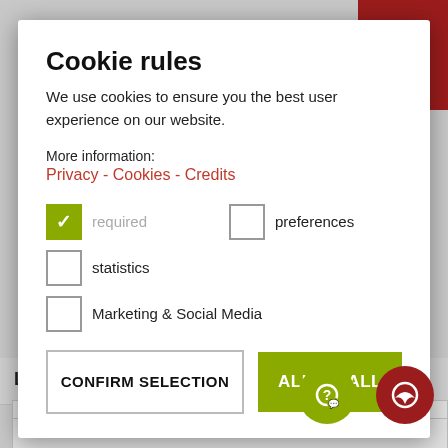[Figure (screenshot): Cookie consent modal dialog overlay on a website. Contains title 'Cookie rules', description text, links for Privacy, Cookies, Credits, checkboxes for required/preferences/statistics/Marketing & Social Media, and two buttons: CONFIRM SELECTION and ALLOW ALL. Background shows a web form with Last name and Email fields and FAQ/Messenger icons.]
Cookie rules
We use cookies to ensure you the best user experience on our website.
More information:
Privacy - Cookies - Credits
required (checked)
preferences
statistics
Marketing & Social Media